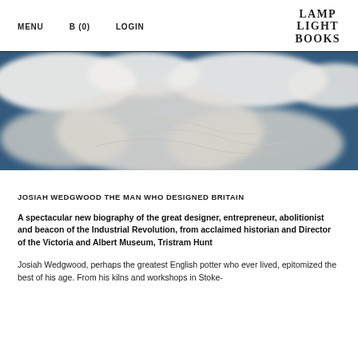MENU   B (0)   LOGIN   LAMP LIGHT BOOKS
[Figure (photo): Close-up aerial or sculptural photograph showing white cloud-like or ceramic/plaster swirling forms against a deep blue background, possibly a decorative relief or aerial cloud photograph.]
JOSIAH WEDGWOOD THE MAN WHO DESIGNED BRITAIN
A spectacular new biography of the great designer, entrepreneur, abolitionist and beacon of the Industrial Revolution, from acclaimed historian and Director of the Victoria and Albert Museum, Tristram Hunt
Josiah Wedgwood, perhaps the greatest English potter who ever lived, epitomized the best of his age. From his kilns and workshops in Stoke-